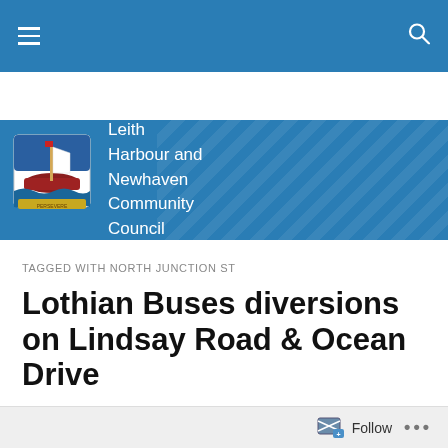Navigation bar with hamburger menu and search icon
[Figure (logo): Leith Harbour and Newhaven Community Council logo with ship crest and organization name in white text on blue chevron-patterned background]
TAGGED WITH NORTH JUNCTION ST
Lothian Buses diversions on Lindsay Road & Ocean Drive
These diversions are due to start in March. Click the thumbnails to see the full-size PDFs:
Follow